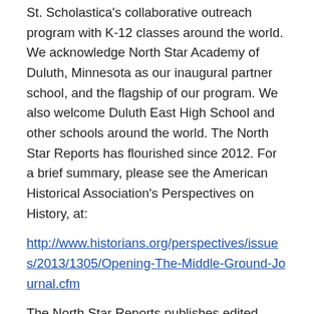St. Scholastica's collaborative outreach program with K-12 classes around the world. We acknowledge North Star Academy of Duluth, Minnesota as our inaugural partner school, and the flagship of our program. We also welcome Duluth East High School and other schools around the world. The North Star Reports has flourished since 2012. For a brief summary, please see the American Historical Association's Perspectives on History, at:
http://www.historians.org/perspectives/issues/2013/1305/Opening-The-Middle-Ground-Journal.cfm
The North Star Reports publishes edited essays from our students, particularly from those who are currently stationed, or will soon be stationed abroad. Students have reported from Mongolia, Southern China, Shanghai, northeastern China, The Netherlands, Tanzania, Ireland